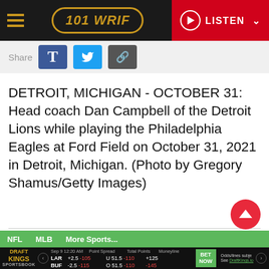101 WRIF | LISTEN
[Figure (screenshot): Share bar with Facebook, Twitter, and link share buttons]
DETROIT, MICHIGAN - OCTOBER 31: Head coach Dan Campbell of the Detroit Lions while playing the Philadelphia Eagles at Ford Field on October 31, 2021 in Detroit, Michigan. (Photo by Gregory Shamus/Getty Images)
[Figure (photo): Partial photo of Dan Campbell, head coach of the Detroit Lions, on the sideline]
[Figure (screenshot): DraftKings Sportsbook ticker showing LAR vs BUF odds: Point Spread LAR +2.5 -105, BUF -2.5 -115; Total Points U 51.5 -110, O 51.5 -110; Moneyline LAR +125, BUF -145]